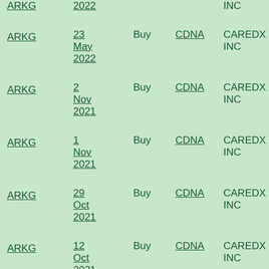| Fund | Date | Direction | Ticker | Company | Shares |
| --- | --- | --- | --- | --- | --- |
| ARKG | 2022 (partial) |  |  | INC (partial) |  |
| ARKG | 23 May 2022 | Buy | CDNA | CAREDX INC | 116... |
| ARKG | 2 Nov 2021 | Buy | CDNA | CAREDX INC | 102... |
| ARKG | 1 Nov 2021 | Buy | CDNA | CAREDX INC | 281... |
| ARKG | 29 Oct 2021 | Buy | CDNA | CAREDX INC | 326... |
| ARKG | 12 Oct 2021 | Buy | CDNA | CAREDX INC | 79,... |